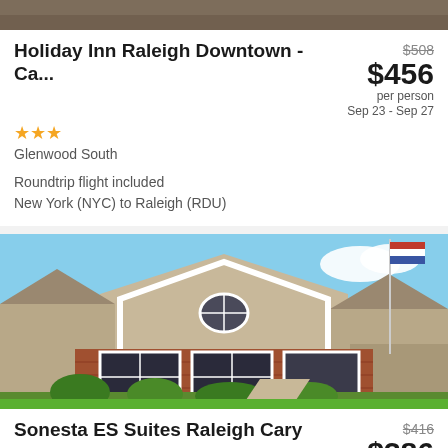[Figure (photo): Top portion of hotel exterior photo, cropped]
Holiday Inn Raleigh Downtown - Ca...
$508 (strikethrough), $456 per person, Sep 23 - Sep 27
★★★
Glenwood South
Roundtrip flight included
New York (NYC) to Raleigh (RDU)
[Figure (photo): Exterior photo of Sonesta ES Suites Raleigh Cary — brick and siding building with American flag]
Sonesta ES Suites Raleigh Cary
$416 (strikethrough), $386 per person, Sep 23 - Sep 27
★★★
Roundtrip flight included